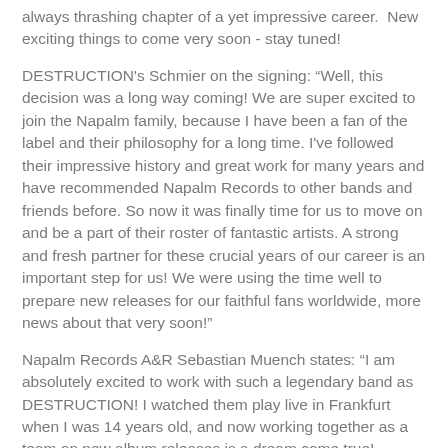always thrashing chapter of a yet impressive career.  New exciting things to come very soon - stay tuned!
DESTRUCTION's Schmier on the signing: “Well, this decision was a long way coming! We are super excited to join the Napalm family, because I have been a fan of the label and their philosophy for a long time. I've followed their impressive history and great work for many years and have recommended Napalm Records to other bands and friends before. So now it was finally time for us to move on and be a part of their roster of fantastic artists. A strong and fresh partner for these crucial years of our career is an important step for us! We were using the time well to prepare new releases for our faithful fans worldwide, more news about that very soon!”
Napalm Records A&R Sebastian Muench states: “I am absolutely excited to work with such a legendary band as DESTRUCTION! I watched them play live in Frankfurt when I was 14 years old, and now working together as a team on new album releases is a dream come true! Welcome to the Napalm family!”